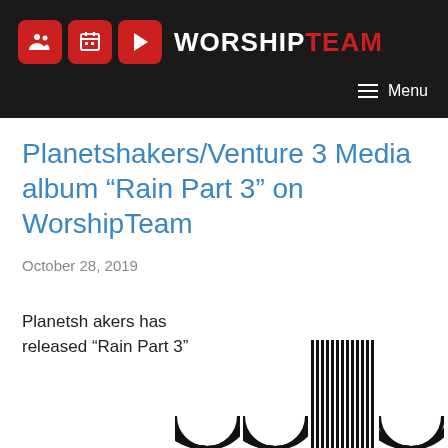WORSHIPTEAM
Planetshakers/Venture 3 Media album “Rain Part 3” on WorshipTeam
October 28, 2019
Planetshakers has released “Rain Part 3”
[Figure (illustration): Black and white concentric arc/circle pattern album artwork repeated four times in a row at the bottom of the page]